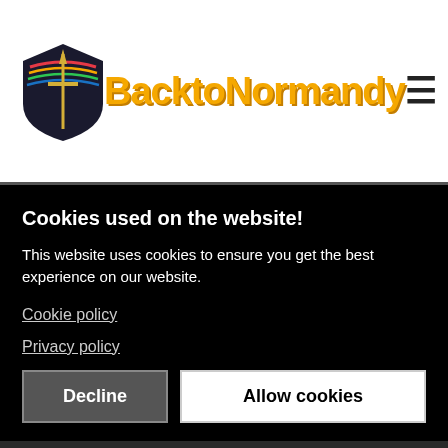[Figure (logo): Back to Normandy logo with shield emblem and yellow text]
Cookies used on the website!
This website uses cookies to ensure you get the best experience on our website.
Cookie policy
Privacy policy
Decline
Allow cookies
4  Goodbye My Love  Fred Vogels  3:44
5  I Am Fulfilled with Joy  4:02
YOUR STORY